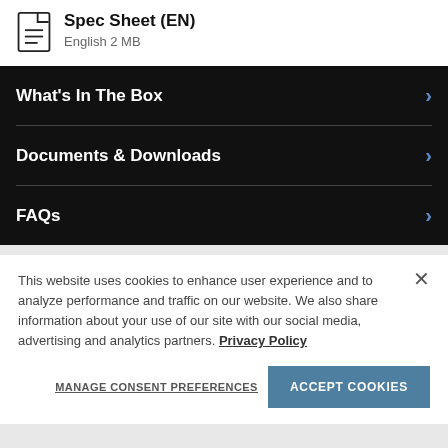Spec Sheet (EN)
English 2 MB
What's In The Box
Documents & Downloads
FAQs
This website uses cookies to enhance user experience and to analyze performance and traffic on our website. We also share information about your use of our site with our social media, advertising and analytics partners. Privacy Policy
MANAGE CONSENT PREFERENCES
ACCEPT COOKIES